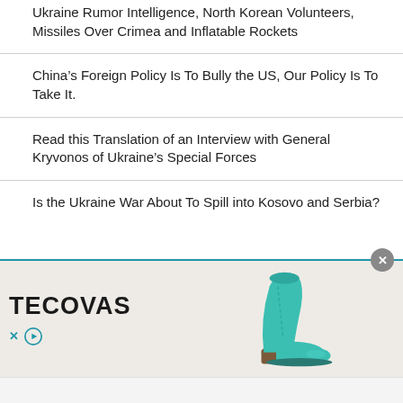Ukraine Rumor Intelligence, North Korean Volunteers, Missiles Over Crimea and Inflatable Rockets
China’s Foreign Policy Is To Bully the US, Our Policy Is To Take It.
Read this Translation of an Interview with General Kryvonos of Ukraine’s Special Forces
Is the Ukraine War About To Spill into Kosovo and Serbia?
[Figure (advertisement): Tecovas brand advertisement showing a teal cowboy boot on a beige background with TECOVAS logo in bold black text and social media icons]